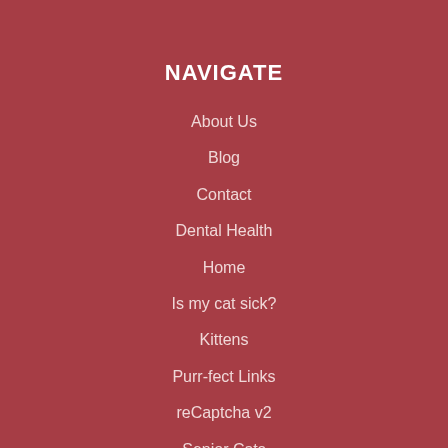NAVIGATE
About Us
Blog
Contact
Dental Health
Home
Is my cat sick?
Kittens
Purr-fect Links
reCaptcha v2
Senior Cats
Services
Visiting Us?